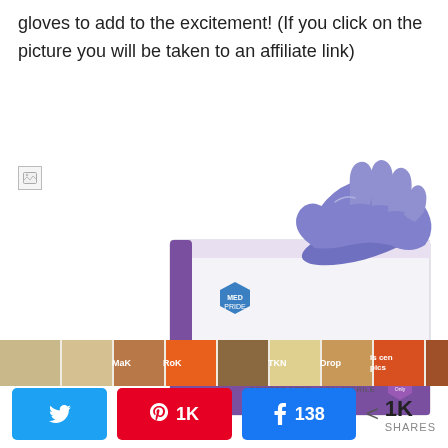gloves to add to the excitement! (If you click on the picture you will be taken to an affiliate link)
[Figure (photo): Box of MedPride Medical Examination Nitrile Gloves, Powder Free, Non Sterile, 100 count, with a purple/blue nitrile glove shown emerging from the top of the box.]
[Figure (photo): Strip of related article thumbnail images]
1K SHARES